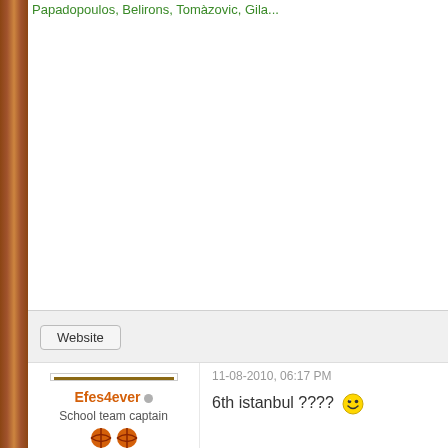Papadopoulos, Belirons, Tomàzovic, ...
Website
11-08-2010, 06:17 PM
6th istanbul ????
Efes4ever
School team captain
Posts: 177